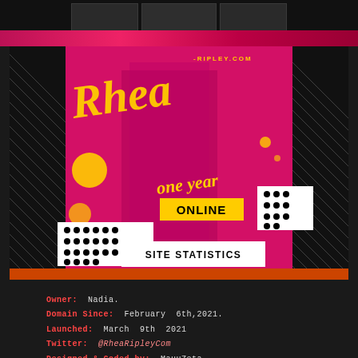[Figure (photo): Top strip with three small photo thumbnails in dark boxes]
[Figure (illustration): Main banner for Rhea Ripley website one-year anniversary. Pink/magenta and black diagonal hatch pattern background. Features blonde woman in black outfit. Text includes 'Rhea' in gold cursive script, 'one year ONLINE' in yellow/gold text. URL '-RIPLEY.COM' at top right. White box with 'SITE STATISTICS' in bold black text at bottom.]
Owner:  Nadia.
Domain Since:  February  6th,2021.
Launched:  March  9th  2021
Twitter:  @RheaRipleyCom
Designed & Coded by:  MauuZeta
BEST VIEWED IN:  FireFox | Chrome | IE